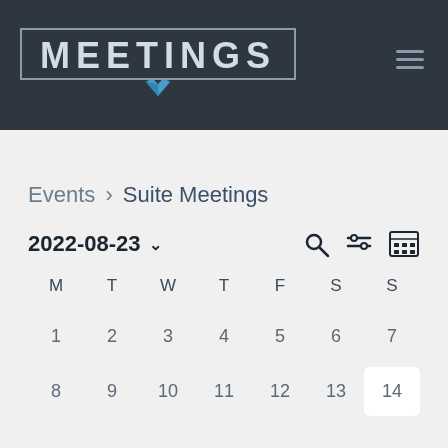[Figure (logo): Meetings logo with diamond icon on dark background, hamburger menu icon top right]
Events › Suite Meetings
2022-08-23
[Figure (other): Calendar grid showing August 2022, days M T W T F S S, dates 1-14 visible]
Calendar date 14 highlighted with white background